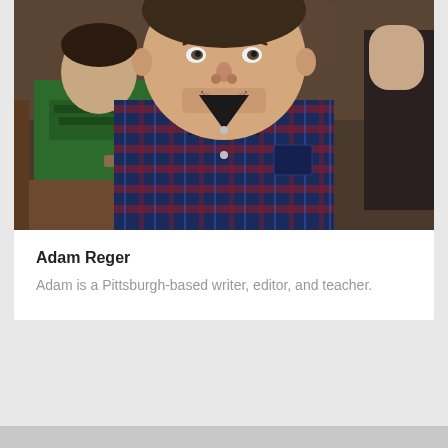[Figure (photo): Headshot photo of Adam Reger, a smiling man wearing a blue and red plaid shirt, seated in what appears to be a cafe or restaurant. Another person in a green Boston Celtics shirt is visible in the background.]
Adam Reger
Adam is a Pittsburgh-based writer, editor, and teacher.